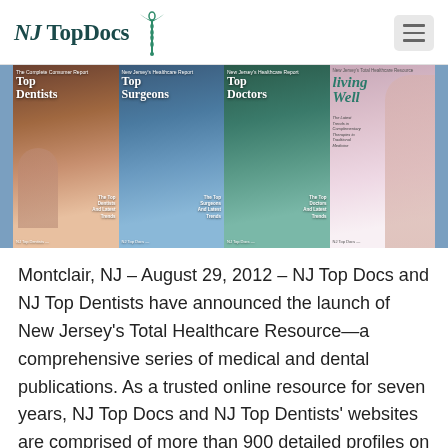NJ Top Docs
[Figure (illustration): Four magazine covers side by side: Top Dentists, Top Surgeons, Top Doctors, and Living Well — NJ Top Docs publication series]
Montclair, NJ – August 29, 2012 – NJ Top Docs and NJ Top Dentists have announced the launch of New Jersey's Total Healthcare Resource—a comprehensive series of medical and dental publications. As a trusted online resource for seven years, NJ Top Docs and NJ Top Dentists' websites are comprised of more than 900 detailed profiles on the area's most qualified doctors, dentists and hospitals. By choosing to